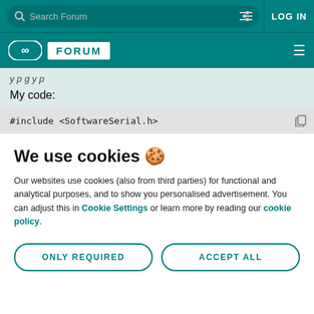Search Forum | LOG IN
FORUM
My code:
#include <SoftwareSerial.h>
We use cookies 🍪
Our websites use cookies (also from third parties) for functional and analytical purposes, and to show you personalised advertisement. You can adjust this in Cookie Settings or learn more by reading our cookie policy.
ONLY REQUIRED
ACCEPT ALL